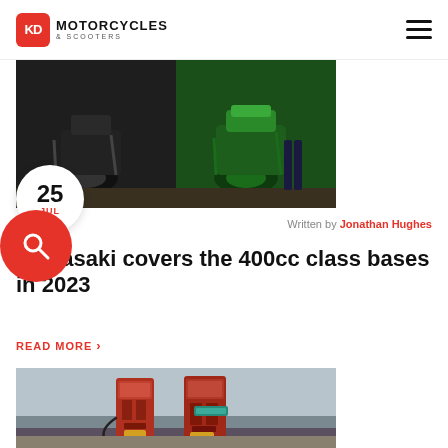KD Motorcycles & Scooters
[Figure (photo): Two motorcycles side by side — a dark naked bike on the left and a green sportbike (Kawasaki) on the right]
Written by Jonathan Hughes
Kawasaki covers the 400cc class bases in 2023
READ MORE >
[Figure (photo): Two vintage/rusty gas pump stations on a beach with overcast sky]